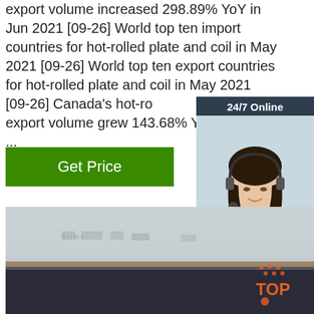export volume increased 298.89% YoY in Jun 2021 [09-26] World top ten import countries for hot-rolled plate and coil in May 2021 [09-26] World top ten export countries for hot-rolled plate and coil in May 2021 [09-26] Canada's hot-rolled plate and coil export volume grew 143.68% YoY in 2021 ...
[Figure (other): Green 'Get Price' button]
[Figure (other): 24/7 Online chat widget overlay showing a female customer service agent with headset, with dark header '24/7 Online', white section with agent photo, dark footer with italic text 'Click here for free chat!' and an orange 'QUOTATION' button]
[Figure (photo): Photo of hot-rolled steel plates/coils stacked, showing gray metallic surface with markings, with a 'TOP' badge in bottom right corner]